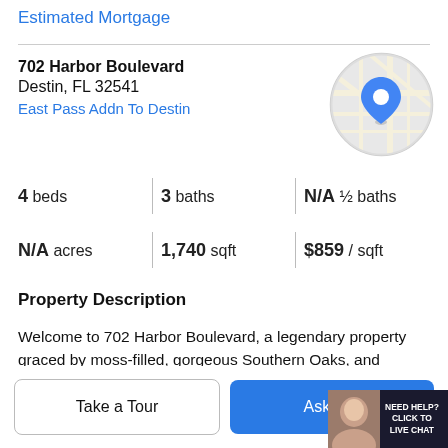Estimated Mortgage
702 Harbor Boulevard
Destin, FL 32541
East Pass Addn To Destin
[Figure (map): Circular map thumbnail showing street map with blue location pin marker]
4 beds | 3 baths | N/A ½ baths | N/A acres | 1,740 sqft | $859 / sqft
Property Description
Welcome to 702 Harbor Boulevard, a legendary property graced by moss-filled, gorgeous Southern Oaks, and expanding over .50 acres on a high bluff overlooking the Scenic Harbor of Destin, Florida! Never listed in its history, this generational home is a quintessential homestead now